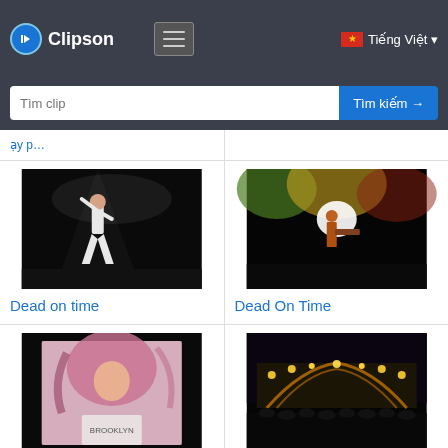Clipson — Tìm clip — Tiếng Việt
[Figure (screenshot): Clipson website header with logo, hamburger menu, Vietnamese language selector, and search bar with 'Tìm clip' placeholder and 'Tìm kiếm →' button]
[Figure (photo): Concert performer in white outfit on dark stage - Dead on time thumbnail]
Dead on time
[Figure (photo): Concert performer on colorful lit stage - Dead On Time thumbnail]
Dead On Time
[Figure (photo): Woman with flowing hair, Brooklyn shirt, on black background]
[Figure (photo): Concert stage with golden lights and crowd - Bohemian Rhapsody thumbnail]
Bohemian Rhapsody
[Figure (photo): Partially visible thumbnail at bottom left]
[Figure (photo): Partially visible thumbnail at bottom right]